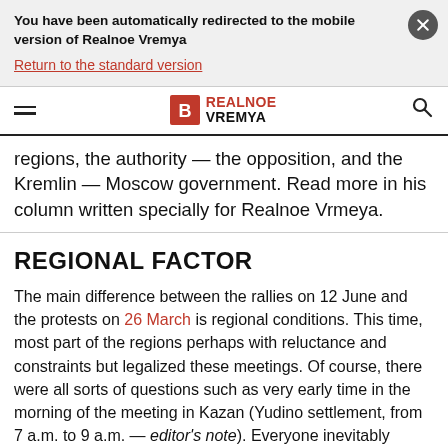You have been automatically redirected to the mobile version of Realnoe Vremya
Return to the standard version
[Figure (logo): Realnoe Vremya logo with hamburger menu and search icon]
regions, the authority — the opposition, and the Kremlin — Moscow government. Read more in his column written specially for Realnoe Vrmeya.
REGIONAL FACTOR
The main difference between the rallies on 12 June and the protests on 26 March is regional conditions. This time, most part of the regions perhaps with reluctance and constraints but legalized these meetings. Of course, there were all sorts of questions such as very early time in the morning of the meeting in Kazan (Yudino settlement, from 7 a.m. to 9 a.m. — editor's note). Everyone inevitably wondered: "Isn't it too